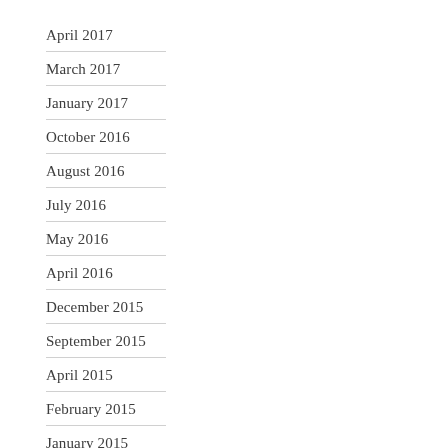April 2017
March 2017
January 2017
October 2016
August 2016
July 2016
May 2016
April 2016
December 2015
September 2015
April 2015
February 2015
January 2015